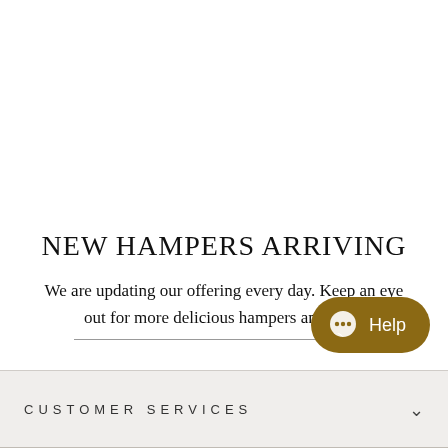NEW HAMPERS ARRIVING
We are updating our offering every day. Keep an eye out for more delicious hampers and gifts.
[Figure (other): Gold rounded pill-shaped help chat button with speech bubble icon and 'Help' label]
CUSTOMER SERVICES